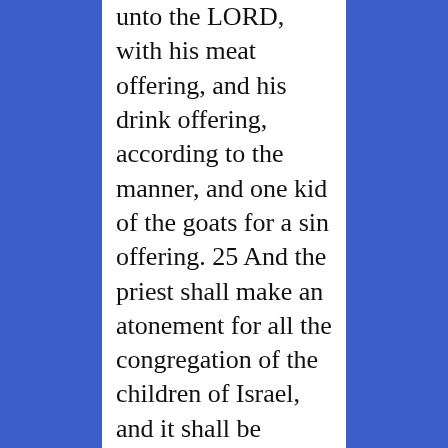unto the LORD, with his meat offering, and his drink offering, according to the manner, and one kid of the goats for a sin offering. 25 And the priest shall make an atonement for all the congregation of the children of Israel, and it shall be forgiven them; for it is ignorance: and they shall bring their offering, a sacrifice made by fire unto the LORD, and their sin offering before the LORD, for their ignorance: 26 And it shall be forgiven all the